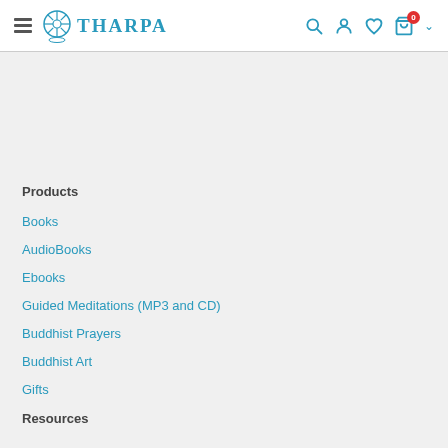[Figure (logo): Tharpa logo with dharma wheel icon and blue text]
Products
Books
AudioBooks
Ebooks
Guided Meditations (MP3 and CD)
Buddhist Prayers
Buddhist Art
Gifts
Resources